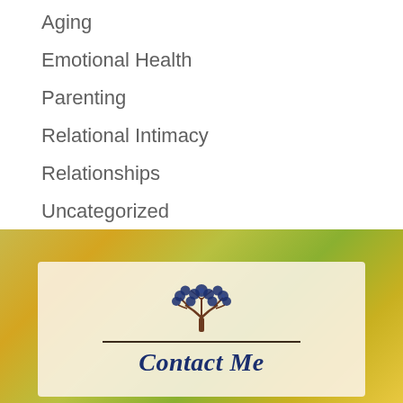Aging
Emotional Health
Parenting
Relational Intimacy
Relationships
Uncategorized
[Figure (illustration): Blurred bokeh background with warm golden, orange, and green tones suggesting an outdoor autumnal setting with sunlight.]
[Figure (logo): Decorative tree illustration in dark blue/navy with ornate scrollwork branches above a horizontal divider line, with 'Contact Me' text in bold italic dark blue serif font below.]